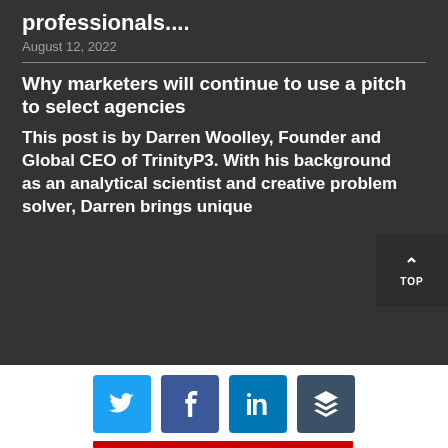professionals....
August 12, 2022
Why marketers will continue to use a pitch to select agencies
This post is by Darren Woolley, Founder and Global CEO of TrinityP3. With his background as an analytical scientist and creative problem solver, Darren brings unique
[Figure (infographic): Social sharing buttons: Twitter (blue), Facebook (blue), LinkedIn (blue), Buffer (dark blue-grey), with a red progress/decoration bar below, and a dark 'TOP' back-to-top button in the corner]